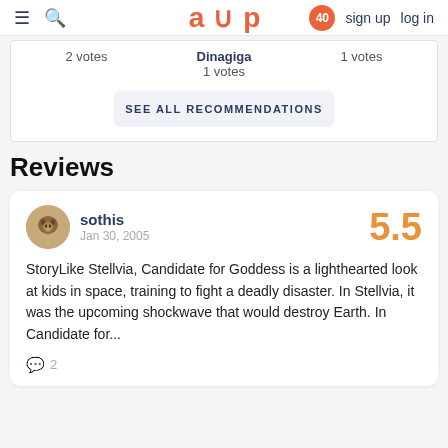≡ 🔍 aup 40 sign up log in
2 votes    Dinagiga 1 votes    1 votes
SEE ALL RECOMMENDATIONS
Reviews
sothis
Jan 30, 2005
5.5
StoryLike Stellvia, Candidate for Goddess is a lighthearted look at kids in space, training to fight a deadly disaster. In Stellvia, it was the upcoming shockwave that would destroy Earth. In Candidate for...
💬 2